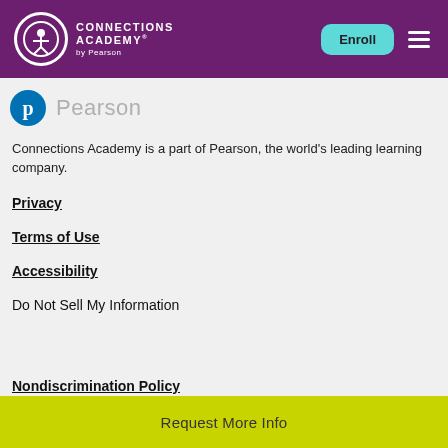Connections Academy by Pearson — Enroll
[Figure (logo): Pearson logo — blue circle with white 'p' and gray 'Pearson' wordmark]
Connections Academy is a part of Pearson, the world's leading learning company.
Privacy
Terms of Use
Accessibility
Do Not Sell My Information
Nondiscrimination Policy
[Figure (other): Yellow 'Request More Info' call-to-action bar]